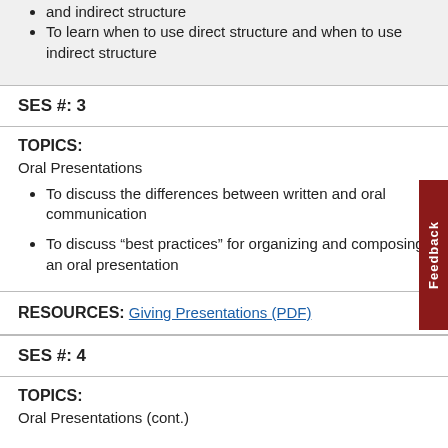and indirect structure
To learn when to use direct structure and when to use indirect structure
SES #: 3
TOPICS:
Oral Presentations
To discuss the differences between written and oral communication
To discuss “best practices” for organizing and composing an oral presentation
RESOURCES: Giving Presentations (PDF)
SES #: 4
TOPICS:
Oral Presentations (cont.)